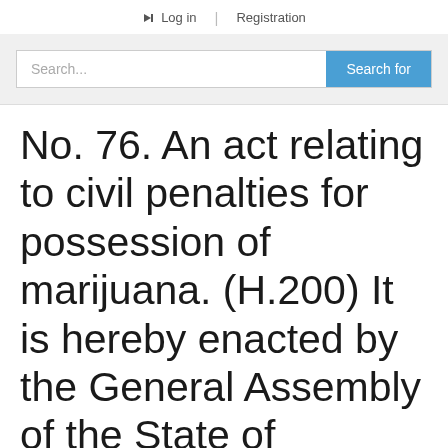Log in | Registration
Search...
No. 76. An act relating to civil penalties for possession of marijuana. (H.200) It is hereby enacted by the General Assembly of the State of Vermont: